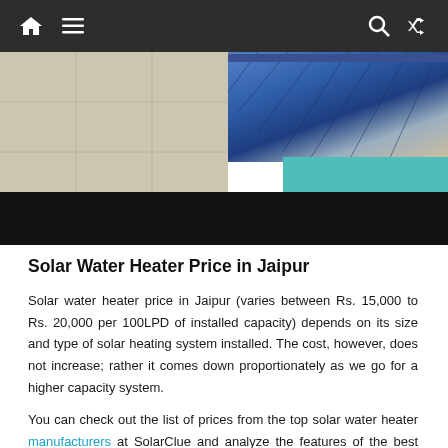Navigation bar with home, menu, search, and shuffle icons
[Figure (photo): Solar water heater photo showing blue solar panel collector at top right, teal pool or tank visible, left side with tile/concrete surface, and a black redacted/blurred bar at the bottom]
Solar Water Heater Price in Jaipur
Solar water heater price in Jaipur (varies between Rs. 15,000 to Rs. 20,000 per 100LPD of installed capacity) depends on its size and type of solar heating system installed. The cost, however, does not increase; rather it comes down proportionately as we go for a higher capacity system.
You can check out the list of prices from the top solar water heater manufacturers at SolarClue and analyze the features of the best solar water heater in Jaipur then select the best one.